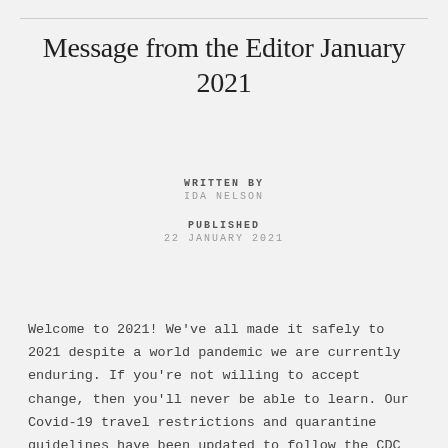Message from the Editor January 2021
WRITTEN BY
IDA NELSON
PUBLISHED
22 JANUARY 2021
Welcome to 2021! We've all made it safely to 2021 despite a world pandemic we are currently enduring. If you're not willing to accept change, then you'll never be able to learn. Our Covid-19 travel restrictions and quarantine guidelines have been updated to follow the CDC guidelines. Igiugig students provided us with a little update on what they've been doing in